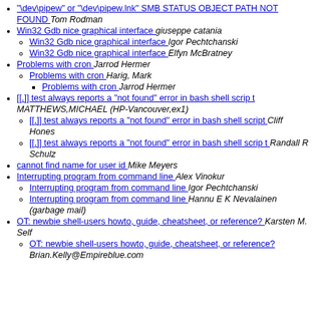"\dev\pipew" or "\dev\pipew.lnk" SMB STATUS OBJECT PATH NOT FOUND  Tom Rodman
Win32 Gdb nice graphical interface  giuseppe catania
Win32 Gdb nice graphical interface  Igor Pechtchanski
Win32 Gdb nice graphical interface  Elfyn McBratney
Problems with cron  Jarrod Hermer
Problems with cron  Harig, Mark
Problems with cron  Jarrod Hermer
[[.]] test always reports a "not found" error in bash shell scrip t  MATTHEWS,MICHAEL (HP-Vancouver,ex1)
[[.]] test always reports a "not found" error in bash shell script  Cliff Hones
[[.]] test always reports a "not found" error in bash shell scrip t  Randall R Schulz
cannot find name for user id  Mike Meyers
Interrupting program from command line  Alex Vinokur
Interrupting program from command line  Igor Pechtchanski
Interrupting program from command line  Hannu E K Nevalainen (garbage mail)
OT: newbie shell-users howto, guide, cheatsheet, or reference?  Karsten M. Self
OT: newbie shell-users howto, guide, cheatsheet, or reference?  Brian.Kelly@Empireblue.com